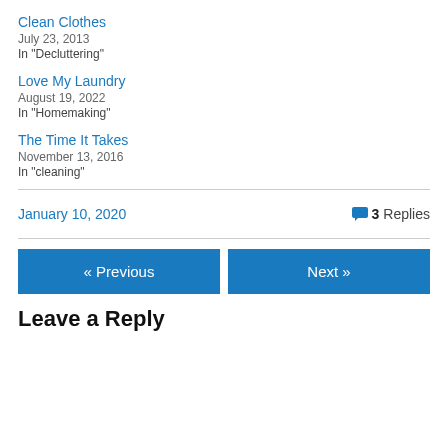Clean Clothes
July 23, 2013
In "Decluttering"
Love My Laundry
August 19, 2022
In "Homemaking"
The Time It Takes
November 13, 2016
In "cleaning"
January 10, 2020 / 3 Replies
« Previous
Next »
Leave a Reply